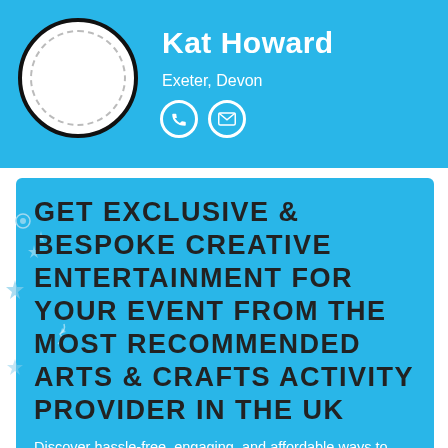Kat Howard
Exeter, Devon
[Figure (infographic): Profile photo placeholder circle with dashed inner border, phone icon circle and email icon circle]
GET EXCLUSIVE & BESPOKE CREATIVE ENTERTAINMENT FOR YOUR EVENT FROM THE MOST RECOMMENDED ARTS & CRAFTS ACTIVITY PROVIDER IN THE UK
Discover hassle-free, engaging, and affordable ways to inspire your guests at your event. Our trained and super friendly teams provide creative fun all across